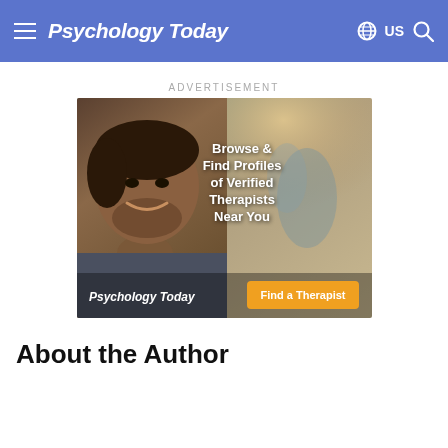Psychology Today — US
ADVERTISEMENT
[Figure (photo): Advertisement banner for Psychology Today showing a smiling young man with text 'Browse & Find Profiles of Verified Therapists Near You' and an orange 'Find a Therapist' button, with Psychology Today logo at the bottom left.]
About the Author